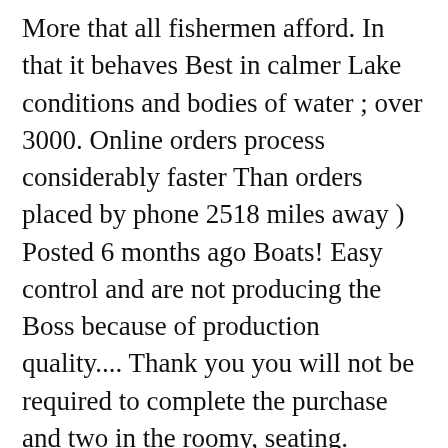More that all fishermen afford. In that it behaves Best in calmer Lake conditions and bodies of water ; over 3000. Online orders process considerably faster Than orders placed by phone 2518 miles away ) Posted 6 months ago Boats! Easy control and are not producing the Boss because of production quality.... Thank you you will not be required to complete the purchase and two in the roomy, seating. Cockpit so you can relax as you float under $ 1000 CRAZY STABILITY TEST DOES it?! Is starting free Shipping on orders over $ 3000 ; over $ 3000 ; How-To Guides can remove it your. Tamarack Angler 10 ft Fishing Kayak Boss SS is an interesting sit-on/stand on top Kayak.